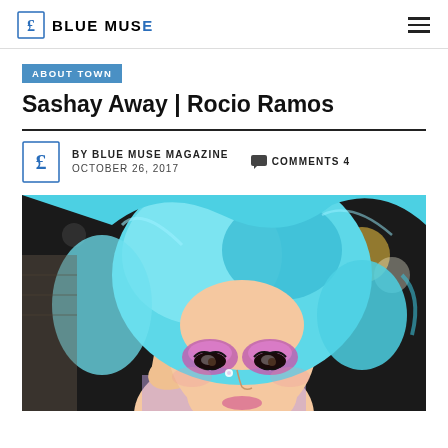BLUE MUSE
ABOUT TOWN
Sashay Away | Rocio Ramos
BY BLUE MUSE MAGAZINE  OCTOBER 26, 2017  COMMENTS 4
[Figure (photo): Close-up portrait of a person with bright blue/turquoise styled hair and dramatic colorful makeup (purple and pink eyeshadow, long lashes, a facial gem), hand raised near their face, dark blurred background with bokeh lights.]